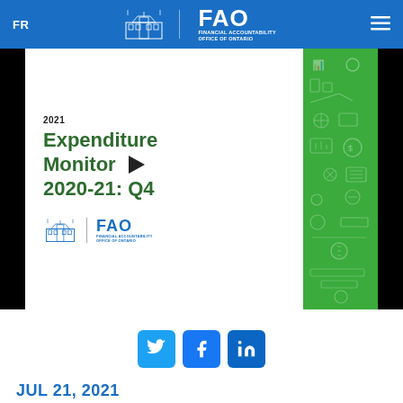FR | FAO Financial Accountability Office of Ontario
[Figure (screenshot): Thumbnail of FAO report cover: Expenditure Monitor 2020-21: Q4, with play button, FAO logo, and green icon panel on the right]
[Figure (logo): Twitter, Facebook, and LinkedIn social media share buttons]
JUL 21, 2021